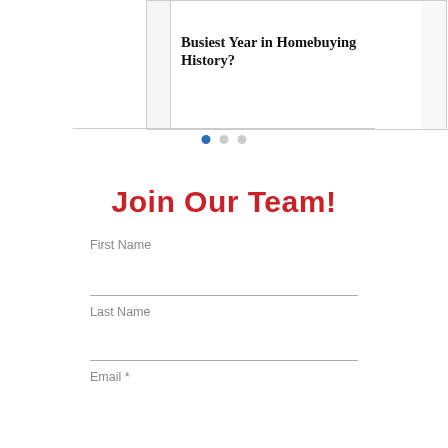[Figure (screenshot): Partial card showing article titled 'Busiest Year in Homebuying History?' with a card image at top, partially visible left and right card stubs, and pagination dots below.]
Join Our Team!
First Name
Last Name
Email *